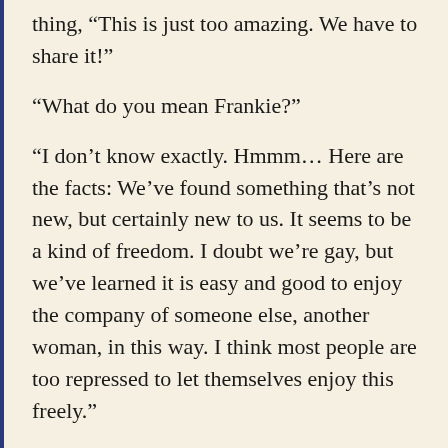thing, “This is just too amazing. We have to share it!”
“What do you mean Frankie?”
“I don’t know exactly. Hmmm… Here are the facts: We’ve found something that’s not new, but certainly new to us. It seems to be a kind of freedom. I doubt we’re gay, but we’ve learned it is easy and good to enjoy the company of someone else, another woman, in this way. I think most people are too repressed to let themselves enjoy this freely.”
Typical Frankie. She thought everyone but her is ‘repressed.’ But, I had to agree with her. There was a part of me that wanted to shout it from the rooftops.